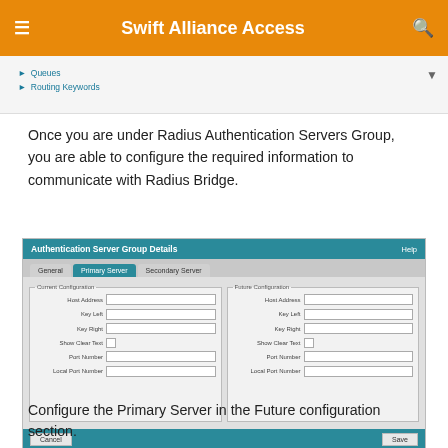Swift Alliance Access
[Figure (screenshot): Navigation menu showing Queues and Routing Keywords items]
Once you are under Radius Authentication Servers Group, you are able to configure the required information to communicate with Radius Bridge.
[Figure (screenshot): Authentication Server Group Details dialog with Primary Server tab selected, showing Current Configuration and Future Configuration panels with fields: Host Address, Key Left, Key Right, Show Clear Text, Port Number, Local Port Number]
Configure the Primary Server in the Future configuration section.